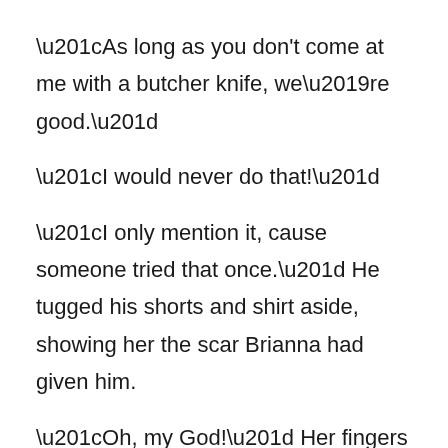“As long as you don't come at me with a butcher knife, we’re good.”
“I would never do that!”
“I only mention it, cause someone tried that once.” He tugged his shorts and shirt aside, showing her the scar Brianna had given him.
“Oh, my God!” Her fingers touched the smooth skin where the hair refused to grow.
Kai flinched away from her touch, not because it hurt him, but because it made him want her even more. I